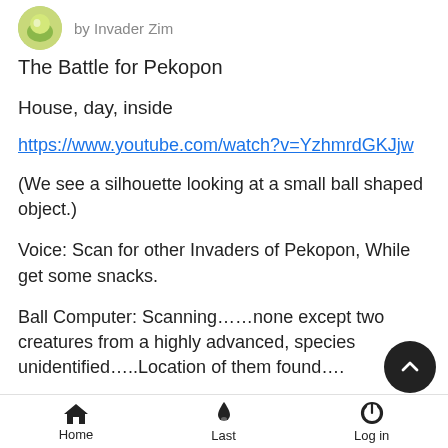by Invader Zim
The Battle for Pekopon
House, day, inside
https://www.youtube.com/watch?v=YzhmrdGKJjw
(We see a silhouette looking at a small ball shaped object.)
Voice: Scan for other Invaders of Pekopon, While get some snacks.
Ball Computer: Scanning……none except two creatures from a highly advanced, species unidentified…..Location of them found….
Voice (Sounds as if he is talking with his mouth full.): Show me
Home   Last   Log in